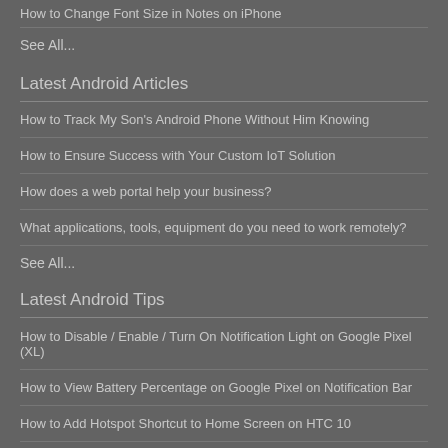How to Change Font Size in Notes on iPhone
See All...
Latest Android Articles
How to Track My Son's Android Phone Without Him Knowing
How to Ensure Success with Your Custom IoT Solution
How does a web portal help your business?
What applications, tools, equipment do you need to work remotely?
See All...
Latest Android Tips
How to Disable / Enable / Turn On Notification Light on Google Pixel (XL)
How to View Battery Percentage on Google Pixel on Notification Bar
How to Add Hotspot Shortcut to Home Screen on HTC 10